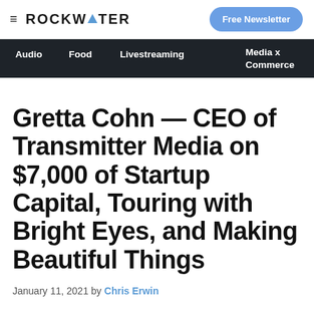ROCKWATER | Free Newsletter
Audio  Food  Livestreaming  Media x Commerce
Gretta Cohn — CEO of Transmitter Media on $7,000 of Startup Capital, Touring with Bright Eyes, and Making Beautiful Things
January 11, 2021 by Chris Erwin